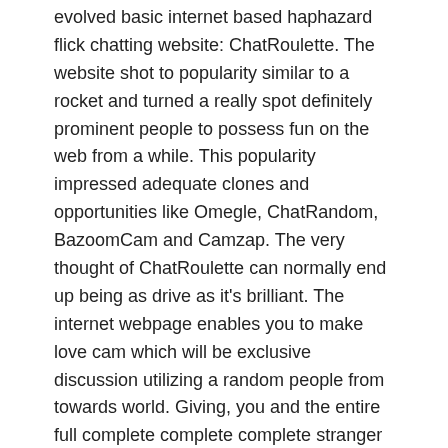evolved basic internet based haphazard flick chatting website: ChatRoulette. The website shot to popularity similar to a rocket and turned a really spot definitely prominent people to possess fun on the web from a while. This popularity impressed adequate clones and opportunities like Omegle, ChatRandom, BazoomCam and Camzap. The very thought of ChatRoulette can normally end up being as drive as it's brilliant. The internet webpage enables you to make love cam which will be exclusive discussion utilizing a random people from towards world. Giving, you and the entire full complete complete complete stranger you may well be signed up with with, can maintain the debate and initiate a new reference to the another arbitrary stranger that is complete.
Membership
Using full a long period ChatRoulette battled in order to keep the internet site nice also to aid in keeping the people that is